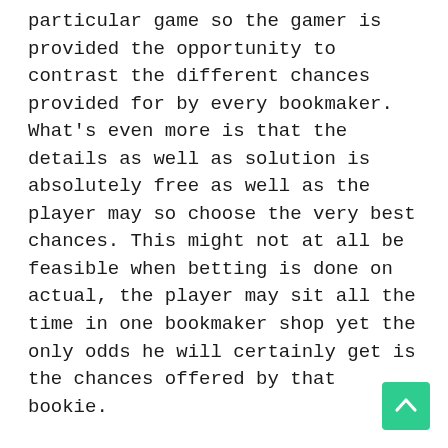particular game so the gamer is provided the opportunity to contrast the different chances provided for by every bookmaker. What's even more is that the details as well as solution is absolutely free as well as the player may so choose the very best chances. This might not at all be feasible when betting is done on actual, the player may sit all the time in one bookmaker shop yet the only odds he will certainly get is the chances offered by that bookie.
Another luring strategy carried out by several online betting sites is a special offer like a money back use. When a player is just starting to search for the very best website to put his wages on, a certain website will